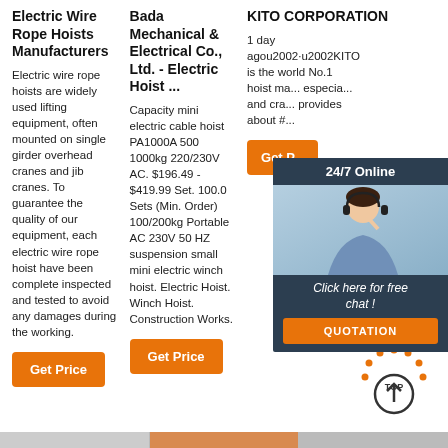Electric Wire Rope Hoists Manufacturers
Electric wire rope hoists are widely used lifting equipment, often mounted on single girder overhead cranes and jib cranes. To guarantee the quality of our equipment, each electric wire rope hoist have been complete inspected and tested to avoid any damages during the working.
Get Price
Bada Mechanical & Electrical Co., Ltd. - Electric Hoist ...
Capacity mini electric cable hoist PA1000A 500 1000kg 220/230V AC. $196.49 - $419.99 Set. 100.0 Sets (Min. Order) 100/200kg Portable AC 230V 50 HZ suspension small mini electric winch hoist. Electric Hoist. Winch Hoist. Construction Works.
Get Price
KITO CORPORATION
1 day agou2002·u2002KITO is the world No.1 hoist ma... especia... and cra... provides about #...
[Figure (infographic): Overlay popup with 24/7 Online label, customer service representative photo, 'Click here for free chat!' text, and orange QUOTATION button]
Get P...
[Figure (illustration): TOP scroll-to-top button with orange dotted arc and circular arrow icon]